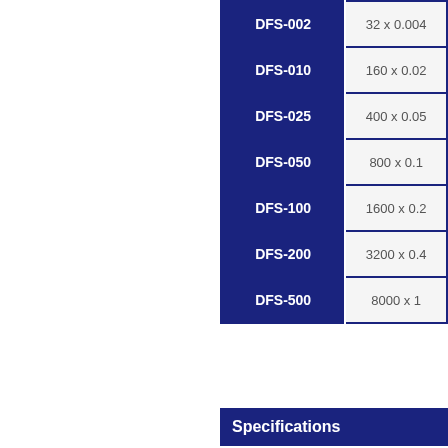| Model | Capacity x Readability |
| --- | --- |
| DFS-002 | 32 x 0.004 |
| DFS-010 | 160 x 0.02 |
| DFS-025 | 400 x 0.05 |
| DFS-050 | 800 x 0.1 |
| DFS-100 | 1600 x 0.2 |
| DFS-200 | 3200 x 0.4 |
| DFS-500 | 8000 x 1 |
Specifications